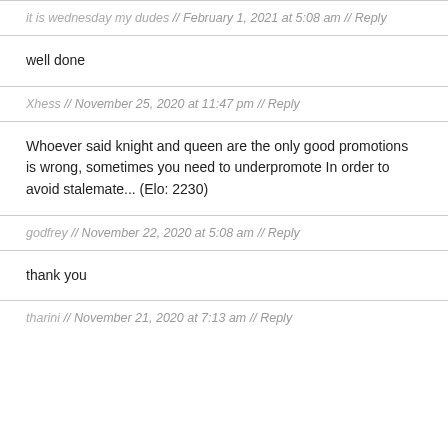it is wednesday my dudes // February 1, 2021 at 5:08 am // Reply
well done
Xhess // November 25, 2020 at 11:47 pm // Reply
Whoever said knight and queen are the only good promotions is wrong, sometimes you need to underpromote In order to avoid stalemate... (Elo: 2230)
godfrey // November 22, 2020 at 5:08 am // Reply
thank you
tharini // November 21, 2020 at 7:13 am // Reply